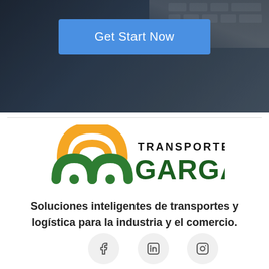[Figure (screenshot): Dark blue hero banner section of a website with a blue 'Get Start Now' button centered near the top]
Get Start Now
[Figure (logo): Transportes Gargano logo with orange and green circular graphic elements and green bold GARGANO text with smaller TRANSPORTES text above]
Soluciones inteligentes de transportes y logística para la industria y el comercio.
[Figure (infographic): Three social media icon buttons (Facebook, LinkedIn, Instagram) in light gray circles, and a scroll-to-top button with upward chevron on the right]